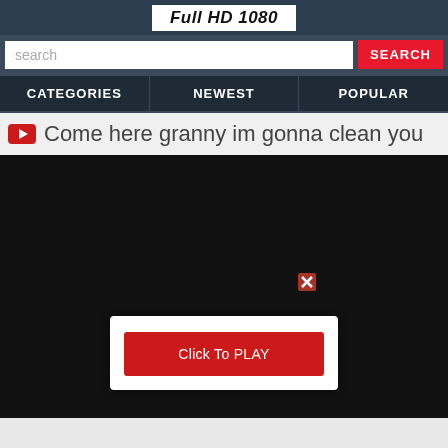Full HD 1080
search | SEARCH
CATEGORIES | NEWEST | POPULAR
Come here granny im gonna clean you
[Figure (screenshot): Black video player area with a small red X close icon and a white popup box containing a red 'Click To PLAY' button]